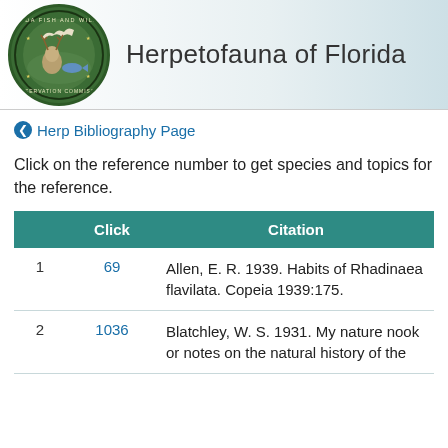Herpetofauna of Florida
Herp Bibliography Page
Click on the reference number to get species and topics for the reference.
|  | Click | Citation |
| --- | --- | --- |
| 1 | 69 | Allen, E. R. 1939. Habits of Rhadinaea flavilata. Copeia 1939:175. |
| 2 | 1036 | Blatchley, W. S. 1931. My nature nook or notes on the natural history of the |